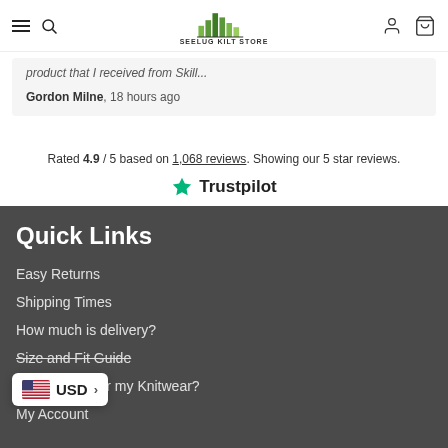SEELUG KILT STORE navigation header with hamburger menu, search icon, logo, account icon, cart icon
product that I received from Skill...
Gordon Milne, 18 hours ago
Rated 4.9 / 5 based on 1,068 reviews. Showing our 5 star reviews.
[Figure (logo): Trustpilot logo with green star]
Quick Links
Easy Returns
Shipping Times
How much is delivery?
Size and Fit Guide
H... or my Knitwear?
My Account